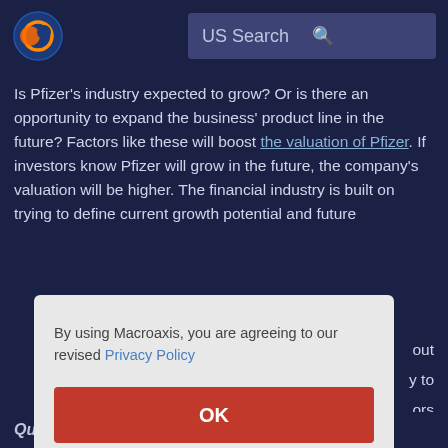US Search
Is Pfizer's industry expected to grow? Or is there an opportunity to expand the business' product line in the future? Factors like these will boost the valuation of Pfizer. If investors know Pfizer will grow in the future, the company's valuation will be higher. The financial industry is built on trying to define current growth potential and future [continued] ...bout ...y to ...ors
By using Macroaxis, you are agreeing to our revised Privacy Policy
OK
Quarterly Earnings Growth YOY